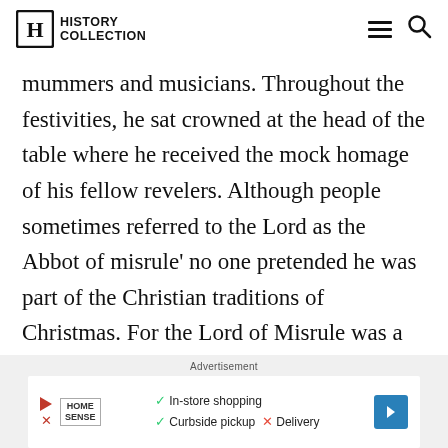HISTORY COLLECTION
mummers and musicians. Throughout the festivities, he sat crowned at the head of the table where he received the mock homage of his fellow revelers. Although people sometimes referred to the Lord as the Abbot of misrule' no one pretended he was part of the Christian traditions of Christmas. For the Lord of Misrule was a blatant leftover from the Roman feast of Saturnalia.
Advertisement
[Figure (other): Advertisement banner for Home Sense showing In-store shopping, Curbside pickup checkmarks and Delivery with X mark, with navigation arrow icon on right]